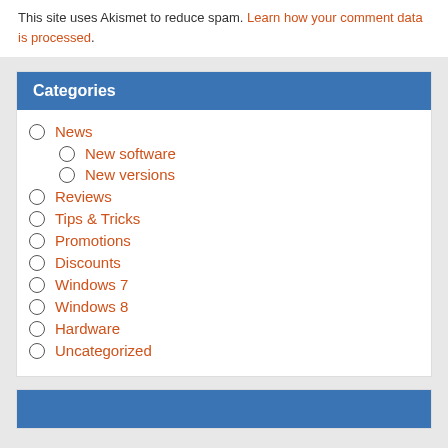This site uses Akismet to reduce spam. Learn how your comment data is processed.
Categories
News
New software
New versions
Reviews
Tips & Tricks
Promotions
Discounts
Windows 7
Windows 8
Hardware
Uncategorized